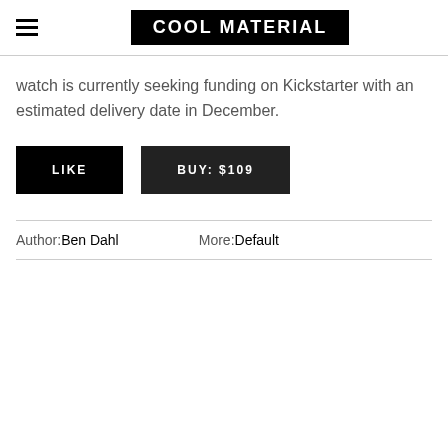COOL MATERIAL
watch is currently seeking funding on Kickstarter with an estimated delivery date in December.
LIKE   BUY: $109
Author: Ben Dahl   More: Default